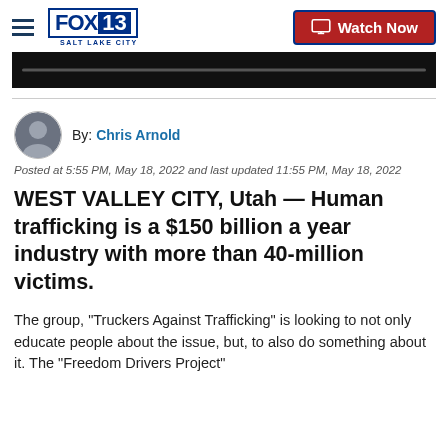FOX 13 SALT LAKE CITY | Watch Now
[Figure (screenshot): Dark video player bar with progress indicator]
[Figure (photo): Circular headshot of Chris Arnold]
By: Chris Arnold
Posted at 5:55 PM, May 18, 2022 and last updated 11:55 PM, May 18, 2022
WEST VALLEY CITY, Utah — Human trafficking is a $150 billion a year industry with more than 40-million victims.
The group, "Truckers Against Trafficking" is looking to not only educate people about the issue, but, to also do something about it. The "Freedom Drivers Project"